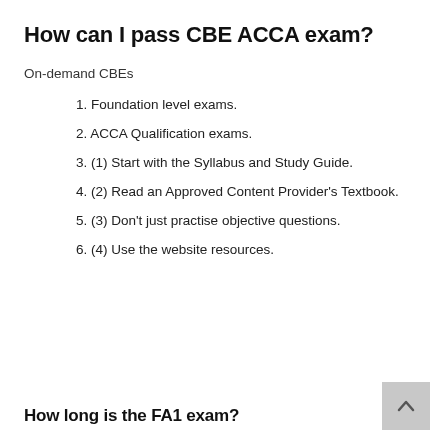How can I pass CBE ACCA exam?
On-demand CBEs
1. Foundation level exams.
2. ACCA Qualification exams.
3. (1) Start with the Syllabus and Study Guide.
4. (2) Read an Approved Content Provider's Textbook.
5. (3) Don't just practise objective questions.
6. (4) Use the website resources.
How long is the FA1 exam?